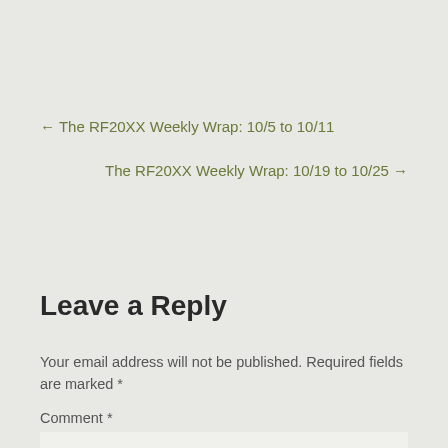← The RF20XX Weekly Wrap: 10/5 to 10/11
The RF20XX Weekly Wrap: 10/19 to 10/25 →
Leave a Reply
Your email address will not be published. Required fields are marked *
Comment *